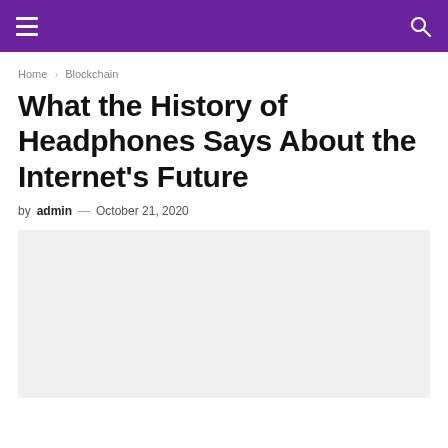≡  🔍
Home › Blockchain
What the History of Headphones Says About the Internet's Future
by admin — October 21, 2020
[Figure (photo): Article header image placeholder, light gray background]